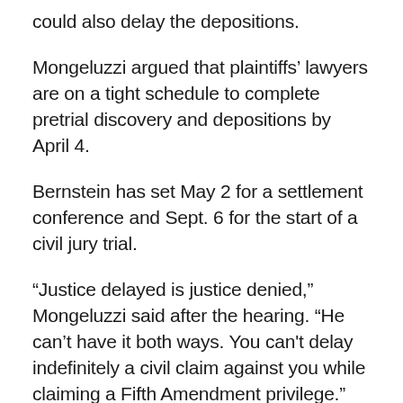could also delay the depositions.
Mongeluzzi argued that plaintiffs' lawyers are on a tight schedule to complete pretrial discovery and depositions by April 4.
Bernstein has set May 2 for a settlement conference and Sept. 6 for the start of a civil jury trial.
“Justice delayed is justice denied,” Mongeluzzi said after the hearing. “He can’t have it both ways. You can't delay indefinitely a civil claim against you while claiming a Fifth Amendment privilege.”
Mongeluzzi has proposed deposing Campbell beginning Jan. 11 for five days,